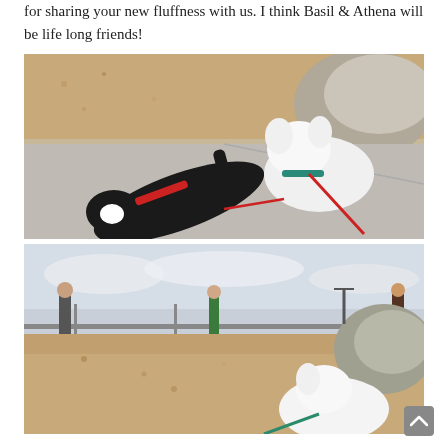for sharing your new fluffness with us. I think Basil & Athena will be life long friends!
[Figure (photo): Two dogs interacting at a park — a black dog lying on its side with a red harness reaching toward a white fluffy dog wearing a teal collar and red leash, on a concrete path with wood chip ground cover and rocks in background.]
[Figure (photo): Outdoor park scene with wood chip ground cover, large rock, a white fluffy dog visible in lower right, people in background near playground equipment, overcast sky.]